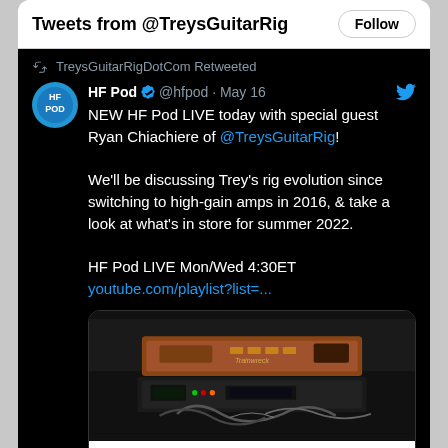Tweets from @TreysGuitarRig
TreysGuitarRigDotCom Retweeted
HF Pod @hfpod · May 16
NEW HF Pod LIVE today with special guest Ryan Chiachiere of @TreysGuitarRig!

We'll be discussing Trey's rig evolution since switching to high-gain amps in 2016, & take a look at what's in store for summer 2022.

HF Pod LIVE Mon/Wed 4:30ET
youtube.com/playlist?list=...
[Figure (photo): Guitar amplifier equipment on a wet rack, showing a Trainwreck amp and other gear including Bricasti and Fryette units, with cables visible]
The Trainwreck amp facing us sits atop the wet rack, which includes the Bricasti (top) and Fryette (bottom). The other 'Wreck faces away and sits atop the Bruno "Naked"